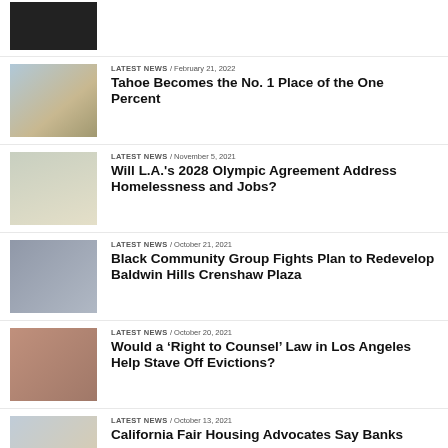[Figure (photo): Black and white photo thumbnail at top]
LATEST NEWS / February 21, 2022 — Tahoe Becomes the No. 1 Place of the One Percent
LATEST NEWS / November 5, 2021 — Will L.A.'s 2028 Olympic Agreement Address Homelessness and Jobs?
LATEST NEWS / October 21, 2021 — Black Community Group Fights Plan to Redevelop Baldwin Hills Crenshaw Plaza
LATEST NEWS / October 20, 2021 — Would a 'Right to Counsel' Law in Los Angeles Help Stave Off Evictions?
LATEST NEWS / October 13, 2021 — California Fair Housing Advocates Say Banks...